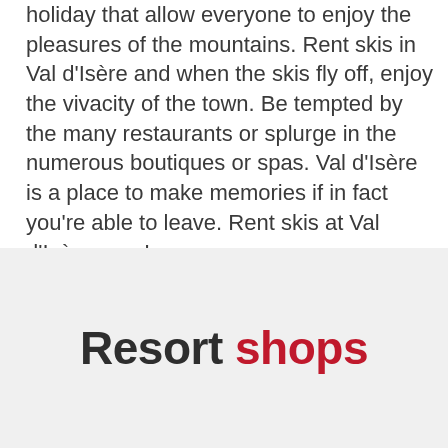holiday that allow everyone to enjoy the pleasures of the mountains. Rent skis in Val d'Isère and when the skis fly off, enjoy the vivacity of the town. Be tempted by the many restaurants or splurge in the numerous boutiques or spas. Val d'Isère is a place to make memories if in fact you're able to leave. Rent skis at Val d'Isère now !
Resort shops